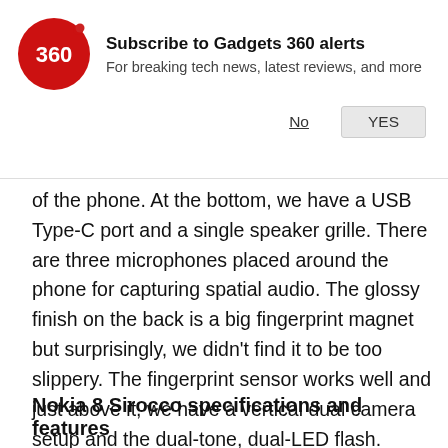[Figure (logo): Gadgets 360 subscription notification bar with red circular logo showing '360', bold title 'Subscribe to Gadgets 360 alerts', subtitle 'For breaking tech news, latest reviews, and more', and two buttons: 'No' (underlined) and 'YES' (gray button)]
of the phone. At the bottom, we have a USB Type-C port and a single speaker grille. There are three microphones placed around the phone for capturing spatial audio. The glossy finish on the back is a big fingerprint magnet but surprisingly, we didn't find it to be too slippery. The fingerprint sensor works well and just above it, we have a vertical dual camera setup and the dual-tone, dual-LED flash. Overall, the Nokia 8 Sirocco looks brilliant and is by far, HMD global's most exquisite offering yet.
Nokia 8 Sirocco specifications and features